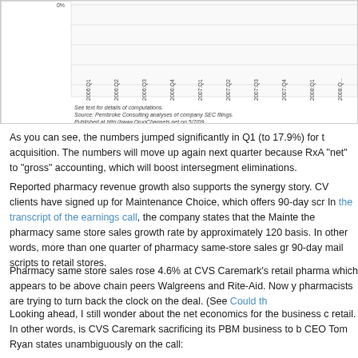[Figure (other): Partial bar/line chart showing quarterly data from 2006:Q1 through 2008:Q1, with footnotes about computations and data source from Pembroke Consulting analyses of company SEC filings, published at http://www.DrugChannels.net on 5/7/09]
As you can see, the numbers jumped significantly in Q1 (to 17.9%) for t acquisition. The numbers will move up again next quarter because RxA "net" to "gross" accounting, which will boost intersegment eliminations.
Reported pharmacy revenue growth also supports the synergy story. CV clients have signed up for Maintenance Choice, which offers 90-day scr In the transcript of the earnings call, the company states that the Mainte the pharmacy same store sales growth rate by approximately 120 basis. In other words, more than one quarter of pharmacy same-store sales gr 90-day mail scripts to retail stores.
Pharmacy same store sales rose 4.6% at CVS Caremark's retail pharma which appears to be above chain peers Walgreens and Rite-Aid. Now y pharmacists are trying to turn back the clock on the deal. (See Could th
Looking ahead, I still wonder about the net economics for the business c retail. In other words, is CVS Caremark sacrificing its PBM business to b CEO Tom Ryan states unambiguously on the call:
"Maintenance Choice is profitable to our overall enterprise."
"The Maintenance Choice program is definitely more profitable f look at the entire book of business."